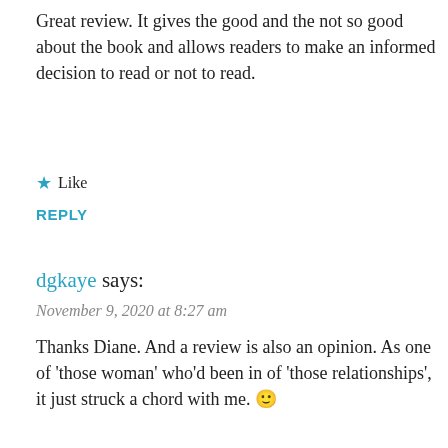Great review. It gives the good and the not so good about the book and allows readers to make an informed decision to read or not to read.
★ Like
REPLY
dgkaye says:
November 9, 2020 at 8:27 am
Thanks Diane. And a review is also an opinion. As one of 'those woman' who'd been in of 'those relationships', it just struck a chord with me. 🙂
Privacy & Cookies: This site uses cookies. By continuing to use this website, you agree to their use.
To find out more, including how to control cookies, see here: Cookie Policy
Close and accept
Thank you for such an in-depth and thoughtful review Debbie